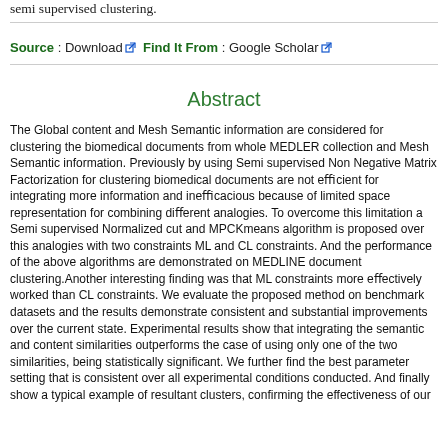semi supervised clustering.
Source : Download  Find It From : Google Scholar
Abstract
The Global content and Mesh Semantic information are considered for clustering the biomedical documents from whole MEDLER collection and Mesh Semantic information. Previously by using Semi supervised Non Negative Matrix Factorization for clustering biomedical documents are not efficient for integrating more information and inefficacious because of limited space representation for combining different analogies. To overcome this limitation a Semi supervised Normalized cut and MPCKmeans algorithm is proposed over this analogies with two constraints ML and CL constraints. And the performance of the above algorithms are demonstrated on MEDLINE document clustering.Another interesting finding was that ML constraints more effectively worked than CL constraints. We evaluate the proposed method on benchmark datasets and the results demonstrate consistent and substantial improvements over the current state. Experimental results show that integrating the semantic and content similarities outperforms the case of using only one of the two similarities, being statistically significant. We further find the best parameter setting that is consistent over all experimental conditions conducted. And finally show a typical example of resultant clusters, confirming the effectiveness of our